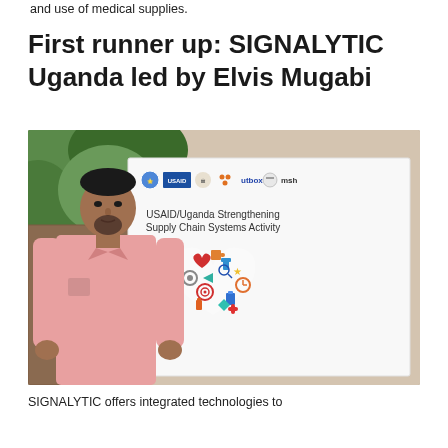and use of medical supplies.
First runner up: SIGNALYTIC Uganda led by Elvis Mugabi
[Figure (photo): A man in a pink shirt standing in front of a USAID/Uganda Strengthening Supply Chain Systems Activity banner with colorful health supply chain icons, with green foliage visible in the background.]
SIGNALYTIC offers integrated technologies to